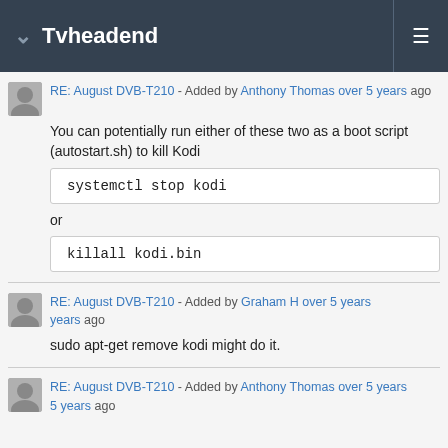Tvheadend
RE: August DVB-T210 - Added by Anthony Thomas over 5 years ago
You can potentially run either of these two as a boot script (autostart.sh) to kill Kodi
or
RE: August DVB-T210 - Added by Graham H over 5 years ago
sudo apt-get remove kodi might do it.
RE: August DVB-T210 - Added by Anthony Thomas over 5 years ago